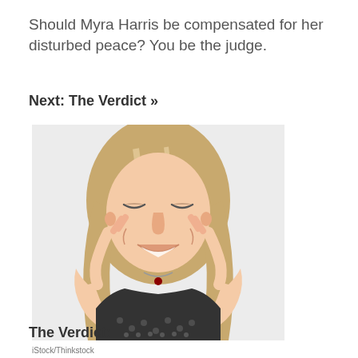Should Myra Harris be compensated for her disturbed peace? You be the judge.
Next: The Verdict »
[Figure (photo): A woman with blonde hair plugging her ears with fingers, eyes closed tightly, wearing a black patterned top, against a white background.]
iStock/Thinkstock
The Verdict: